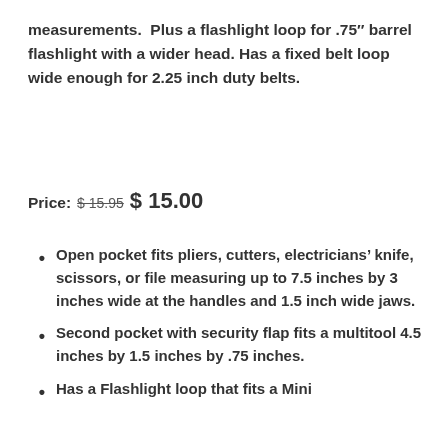measurements.  Plus a flashlight loop for .75" barrel flashlight with a wider head. Has a fixed belt loop wide enough for 2.25 inch duty belts.
Price: $15.95 $15.00
Open pocket fits pliers, cutters, electricians' knife, scissors, or file measuring up to 7.5 inches by 3 inches wide at the handles and 1.5 inch wide jaws.
Second pocket with security flap fits a multitool 4.5 inches by 1.5 inches by .75 inches.
Has a Flashlight loop that fits a Mini